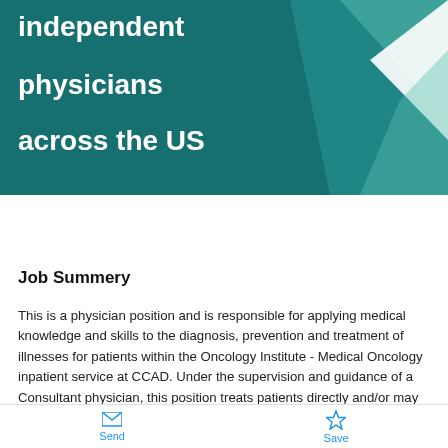[Figure (illustration): Advertisement banner for The US Oncology Network showing teal background with text 'independent physicians across the US' and geometric chevron shapes, with an orange 'LEARN MORE' button and the US Oncology Network logo]
Job Summery
This is a physician position and is responsible for applying medical knowledge and skills to the diagnosis, prevention and treatment of illnesses for patients within the Oncology Institute - Medical Oncology inpatient service at CCAD. Under the supervision and guidance of a Consultant physician, this position treats patients directly and/or may make referrals to different members of the health care professional team at CCAD.
Send   Save